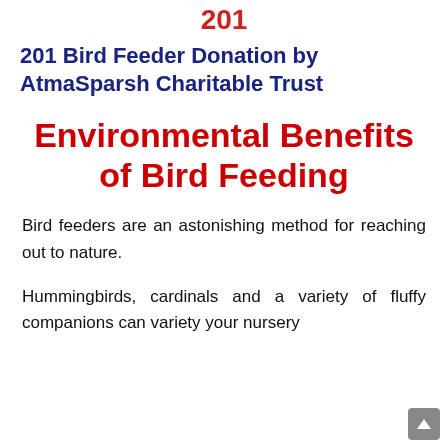201
201 Bird Feeder Donation by AtmaSparsh Charitable Trust
Environmental Benefits of Bird Feeding
Bird feeders are an astonishing method for reaching out to nature.
Hummingbirds, cardinals and a variety of fluffy companions can variety your nursery